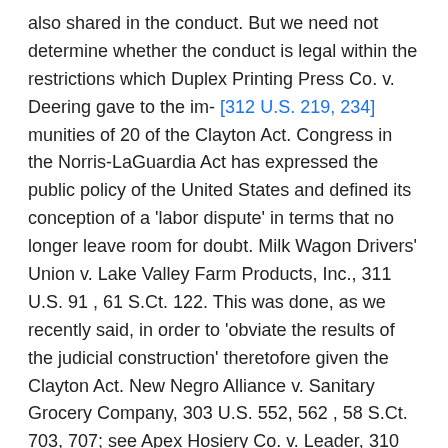also shared in the conduct. But we need not determine whether the conduct is legal within the restrictions which Duplex Printing Press Co. v. Deering gave to the im- [312 U.S. 219, 234] munities of 20 of the Clayton Act. Congress in the Norris-LaGuardia Act has expressed the public policy of the United States and defined its conception of a 'labor dispute' in terms that no longer leave room for doubt. Milk Wagon Drivers' Union v. Lake Valley Farm Products, Inc., 311 U.S. 91, 61 S.Ct. 122. This was done, as we recently said, in order to 'obviate the results of the judicial construction' theretofore given the Clayton Act. New Negro Alliance v. Sanitary Grocery Company, 303 U.S. 552, 562, 58 S.Ct. 703, 707; see Apex Hosiery Co. v. Leader, 310 U.S. 469, 507, 60 S.Ct. 982, 999, 128 A.L.R. 1044, note 26. Such a dispute, 13(c), 29 U.S.C.A. 113(c), provides, 'includes any controversy concerning terms or conditions of employment, or concerning the association or representation of persons in